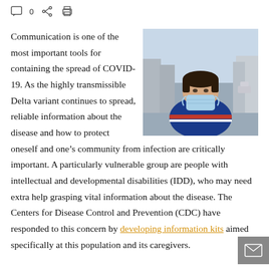0
[Figure (photo): A young person with Down syndrome wearing a blue sweater with red and white stripes and a light blue face mask, standing outdoors on a street.]
Communication is one of the most important tools for containing the spread of COVID-19. As the highly transmissible Delta variant continues to spread, reliable information about the disease and how to protect oneself and one’s community from infection are critically important. A particularly vulnerable group are people with intellectual and developmental disabilities (IDD), who may need extra help grasping vital information about the disease. The Centers for Disease Control and Prevention (CDC) have responded to this concern by developing information kits aimed specifically at this population and its caregivers.